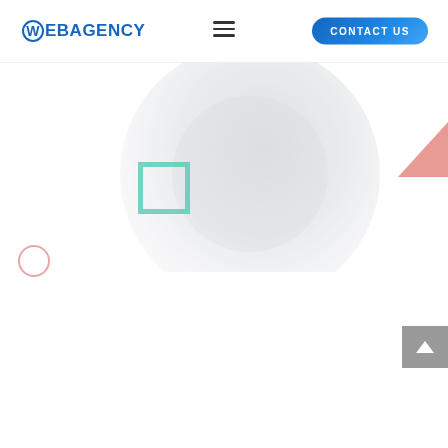WEBAGENCY | CONTACT US
[Figure (screenshot): Web agency website screenshot showing navigation header with WEBAGENCY logo, hamburger menu icon, and CONTACT US button. Below is a hero section with a circular faded photograph (appears to show a workspace/food scene), decorative geometric shapes: a teal/mint square outline, a salmon/red triangle at top right, and a pink circle outline at lower left. A gray back-to-top arrow button is at the lower right.]